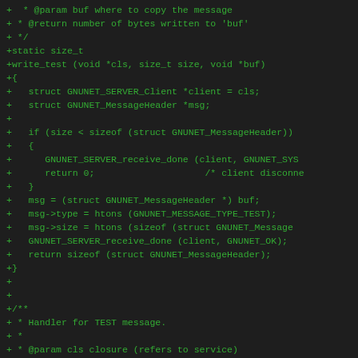Code diff showing C source code for GNUnet server write_test and handle_test functions